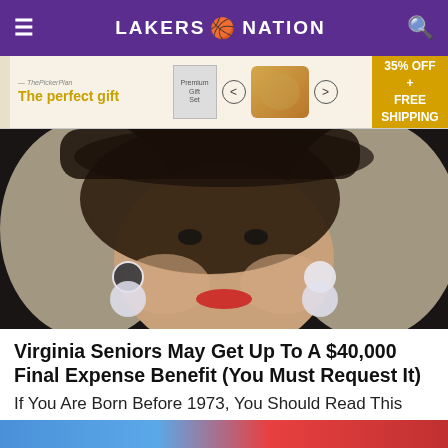LAKERS NATION
[Figure (photo): Advertisement banner: 'The perfect gift' with product image and '35% OFF + FREE SHIPPING']
[Figure (photo): Close-up photo of an elderly woman wearing a black lace veil over her face, white curly hair, red lipstick, and large pearl earrings]
Virginia Seniors May Get Up To A $40,000 Final Expense Benefit (You Must Request It)
If You Are Born Before 1973, You Should Read This
Senior Weekly | Sponsored